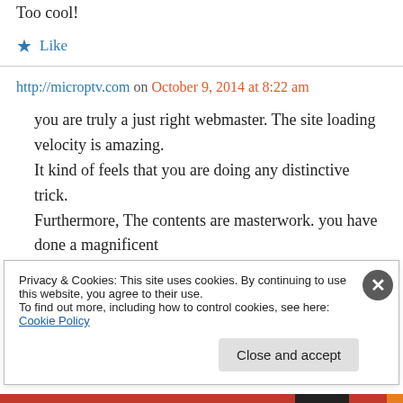Too cool!
★ Like
http://microptv.com on October 9, 2014 at 8:22 am
you are truly a just right webmaster. The site loading velocity is amazing. It kind of feels that you are doing any distinctive trick. Furthermore, The contents are masterwork. you have done a magnificent
Privacy & Cookies: This site uses cookies. By continuing to use this website, you agree to their use.
To find out more, including how to control cookies, see here: Cookie Policy
Close and accept